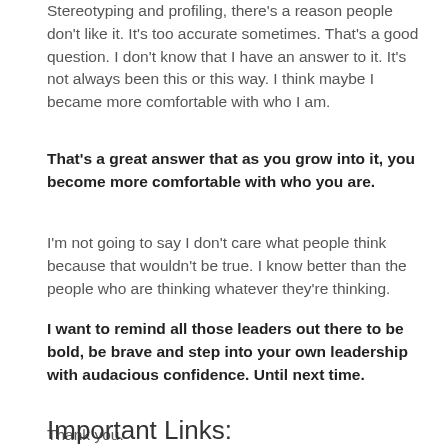Stereotyping and profiling, there's a reason people don't like it. It's too accurate sometimes. That's a good question. I don't know that I have an answer to it. It's not always been this or this way. I think maybe I became more comfortable with who I am.
That's a great answer that as you grow into it, you become more comfortable with who you are.
I'm not going to say I don't care what people think because that wouldn't be true. I know better than the people who are thinking whatever they're thinking.
I want to remind all those leaders out there to be bold, be brave and step into your own leadership with audacious confidence. Until next time.
Thank you.
Important Links: